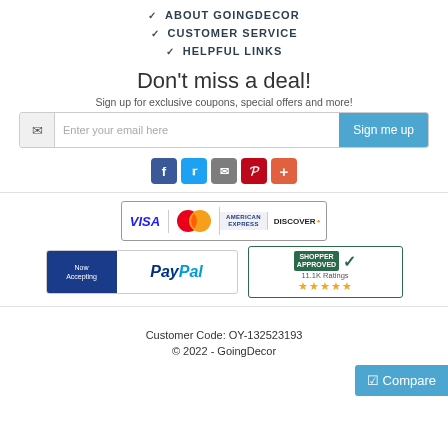✔ ABOUT GOINGDECOR
✔ CUSTOMER SERVICE
✔ HELPFUL LINKS
Don't miss a deal!
Sign up for exclusive coupons, special offers and more!
[Figure (screenshot): Email signup form with icon, input field placeholder 'Enter your email here', and 'Sign me up' button]
[Figure (infographic): Social media icons: Facebook, Twitter, Email, Pinterest, Plus]
[Figure (infographic): Payment logos: Visa, MasterCard, American Express, Discover]
[Figure (infographic): PayPal Now Accepting logo and Shopper Approved 11.1K Ratings with 5 stars]
Customer Code: OY-132523193
© 2022 - GoingDecor